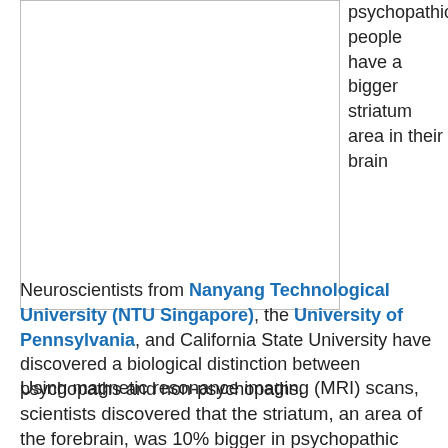[Figure (photo): Image placeholder with border (brain scan or related illustration)]
psychopathic people have a bigger striatum area in their brain

Neuroscientists from Nanyang Technological University (NTU Singapore), the University of Pennsylvania, and California State University have discovered a biological distinction between psychopaths and non-psychopaths.
Using magnetic resonance imaging (MRI) scans, scientists discovered that the striatum, an area of the forebrain, was 10% bigger in psychopathic people compared to a control group of individuals with low or no psychopathic traits.
Psychopaths, or those with psychopathic qualities, are people who have an egotistical and antisocial disposition. This is often characterized by a lack of guilt for their actions, a lack of empathy for others, and, in some cases, criminal